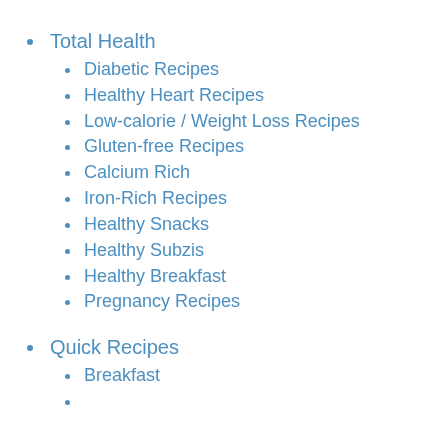Total Health
Diabetic Recipes
Healthy Heart Recipes
Low-calorie / Weight Loss Recipes
Gluten-free Recipes
Calcium Rich
Iron-Rich Recipes
Healthy Snacks
Healthy Subzis
Healthy Breakfast
Pregnancy Recipes
Quick Recipes
Breakfast